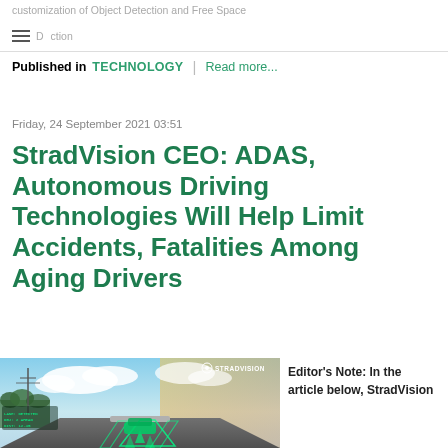customization of Object Detection and Free Space Detection
Published in TECHNOLOGY | Read more...
Friday, 24 September 2021 03:51
StradVision CEO: ADAS, Autonomous Driving Technologies Will Help Limit Accidents, Fatalities Among Aging Drivers
[Figure (photo): Road scene with ADAS overlay graphics showing a vehicle on a highway with green lane markings and detection overlays. StradVision logo in top right corner.]
Editor's Note: In the article below, StradVision